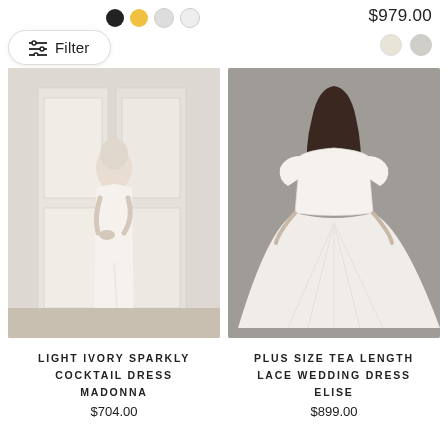$979.00
[Figure (screenshot): Filter button with sliders icon and color dots (black, yellow, light) on top left of product listing page]
[Figure (photo): Light ivory sparkly cocktail dress Madonna - woman in white slip dress standing by white door]
[Figure (photo): Plus size tea length lace wedding dress Elise - woman in white ballgown lace off-shoulder dress]
LIGHT IVORY SPARKLY COCKTAIL DRESS MADONNA
$704.00
PLUS SIZE TEA LENGTH LACE WEDDING DRESS ELISE
$899.00